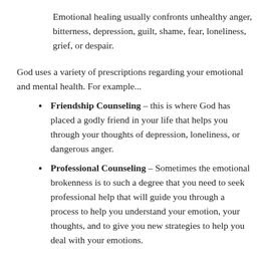Emotional healing usually confronts unhealthy anger, bitterness, depression, guilt, shame, fear, loneliness, grief, or despair.
God uses a variety of prescriptions regarding your emotional and mental health. For example...
Friendship Counseling – this is where God has placed a godly friend in your life that helps you through your thoughts of depression, loneliness, or dangerous anger.
Professional Counseling – Sometimes the emotional brokenness is to such a degree that you need to seek professional help that will guide you through a process to help you understand your emotion, your thoughts, and to give you new strategies to help you deal with your emotions.